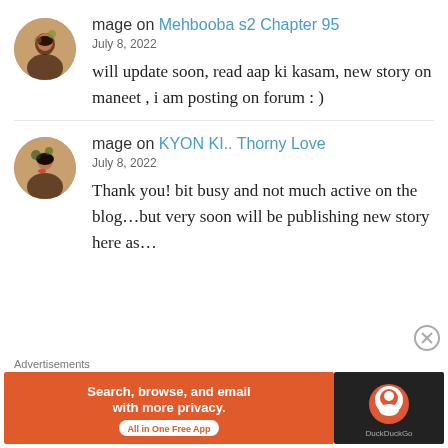mage on Mehbooba s2 Chapter 95
July 8, 2022
will update soon, read aap ki kasam, new story on maneet , i am posting on forum : )
mage on KYON KI.. Thorny Love
July 8, 2022
Thank you! bit busy and not much active on the blog...but very soon will be publishing new story here as...
Advertisements
[Figure (screenshot): DuckDuckGo advertisement banner: orange background with text 'Search, browse, and email with more privacy. All in One Free App' and DuckDuckGo logo on dark right panel]